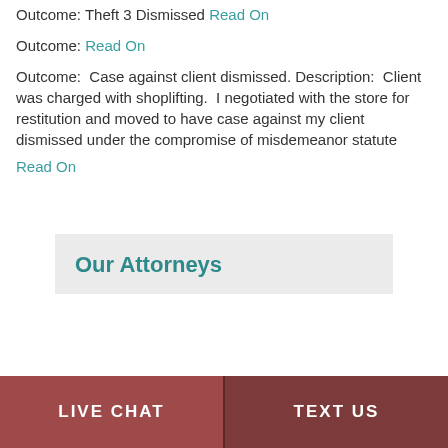Outcome: Theft 3 Dismissed Read On
Outcome: Read On
Outcome: Case against client dismissed. Description: Client was charged with shoplifting. I negotiated with the store for restitution and moved to have case against my client dismissed under the compromise of misdemeanor statute
Read On
Our Attorneys
LIVE CHAT | TEXT US